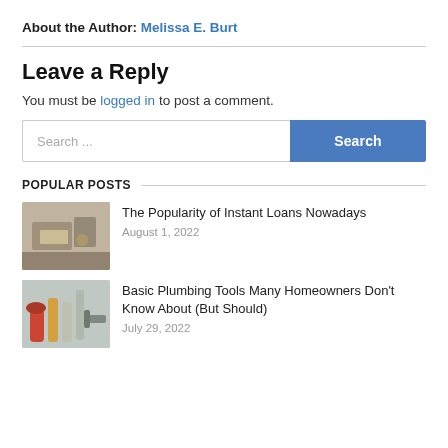About the Author: Melissa E. Burt
Leave a Reply
You must be logged in to post a comment.
[Figure (other): Search input field with placeholder 'Search ...' and a blue Search button]
POPULAR POSTS
[Figure (photo): Person handling money/cash, related to loans article]
The Popularity of Instant Loans Nowadays
August 1, 2022
[Figure (photo): Plumbing tools including wrenches and pipes]
Basic Plumbing Tools Many Homeowners Don't Know About (But Should)
July 29, 2022